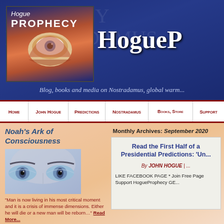HogueProphecy — Blog, books and media on Nostradamus, global warming...
[Figure (screenshot): Hogue Prophecy website header with logo showing an eye and clouds, site title HogueP... (truncated), tagline about blog books and media on Nostradamus global warming]
Home | John Hogue | Predictions | Nostradamus | Books, Store | Support
Monthly Archives: September 2020
Noah's Ark of Consciousness
[Figure (illustration): Close-up illustration of a pair of blue-tinted human eyes]
"Man is now living in his most critical moment and it is a crisis of immense dimensions. Either he will die or a new man will be reborn..." Read More...
Follow Hogue Prophecy
Read the First Half of a Presidential Predictions: 'Un...
By JOHN HOGUE | ...
LIKE FACEBOOK PAGE * Join Free Page Support HogueProphecy GE...